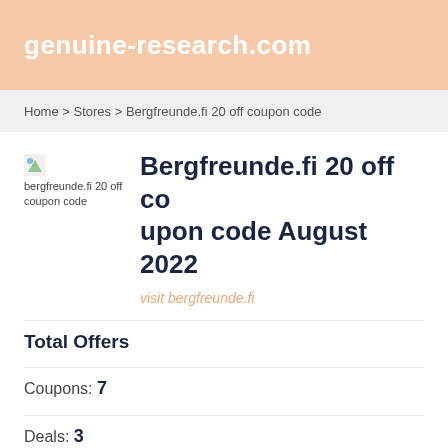genuine-research.com
Home > Stores > Bergfreunde.fi 20 off coupon code
Bergfreunde.fi 20 off coupon code August 2022
visit bergfreunde.fi
Total Offers
Coupons: 7
Deals: 3